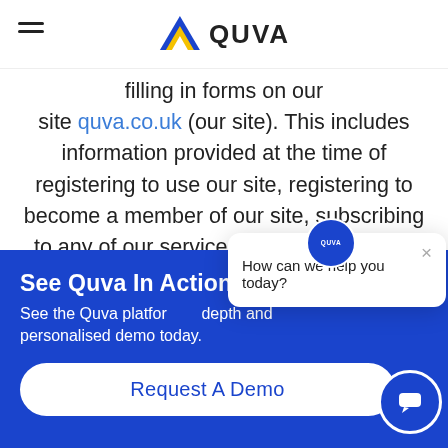[Figure (logo): Quva logo — blue and yellow downward-pointing triangle chevron with text QUVA]
filling in forms on our site quva.co.uk (our site). This includes information provided at the time of registering to use our site, registering to become a member of our site, subscribing to any of our services (including, but not necessarily limited to, when
See Quva In Action
See the Quva platform in depth and personalised demo today.
Request A Demo
[Figure (screenshot): Chat popup widget showing 'How can we help you today?' with close button and Quva avatar]